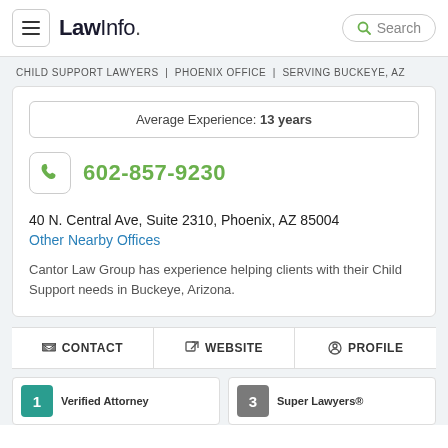LawInfo. Search
CHILD SUPPORT LAWYERS | PHOENIX OFFICE | SERVING BUCKEYE, AZ
Average Experience: 13 years
602-857-9230
40 N. Central Ave, Suite 2310, Phoenix, AZ 85004
Other Nearby Offices
Cantor Law Group has experience helping clients with their Child Support needs in Buckeye, Arizona.
CONTACT   WEBSITE   PROFILE
1 Verified Attorney   3 Super Lawyers®